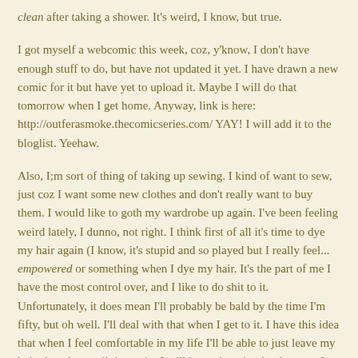clean after taking a shower. It's weird, I know, but true.
I got myself a webcomic this week, coz, y'know, I don't have enough stuff to do, but have not updated it yet. I have drawn a new comic for it but have yet to upload it. Maybe I will do that tomorrow when I get home. Anyway, link is here: http://outferasmoke.thecomicseries.com/ YAY! I will add it to the bloglist. Yeehaw.
Also, I;m sort of thing of taking up sewing. I kind of want to sew, just coz I want some new clothes and don't really want to buy them. I would like to goth my wardrobe up again. I've been feeling weird lately, I dunno, not right. I think first of all it's time to dye my hair again (I know, it's stupid and so played but I really feel... empowered or something when I dye my hair. It's the part of me I have the most control over, and I like to do shit to it. Unfortunately, it does mean I'll probably be bald by the time I'm fifty, but oh well. I'll deal with that when I get to it. I have this idea that when I feel comfortable in my life I'll be able to just leave my hair alone but until that point I will keep changing it whenever I feel off. Fuck, I can't believe how much I have been talking about my